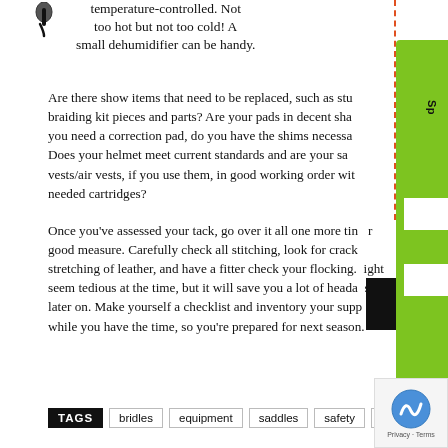temperature-controlled. Not too hot but not too cold! A small dehumidifier can be handy.
Are there show items that need to be replaced, such as stirrups, braiding kit pieces and parts? Are your pads in decent shape? If you need a correction pad, do you have the shims necessary? Does your helmet meet current standards and are your safety vests/air vests, if you use them, in good working order with the needed cartridges?
Once you’ve assessed your tack, go over it all one more time for good measure. Carefully check all stitching, look for cracking and stretching of leather, and have a fitter check your flocking. It might seem tedious at the time, but it will save you a lot of headaches later on. Make yourself a checklist and inventory your supplies while you have the time, so you’re prepared for next season.
TAGS  bridles  equipment  saddles  safety  tack